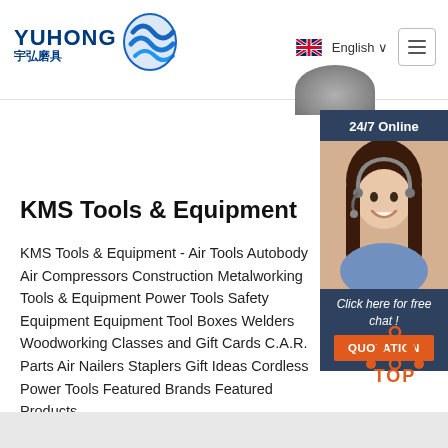YUHONG 宇弘磨具 | English | Menu
KMS Tools & Equipment
KMS Tools & Equipment - Air Tools Autobody Air Compressors Construction Metalworking Tools & Equipment Power Tools Safety Equipment Equipment Tool Boxes Welders Woodworking Classes and Gift Cards C.A.R. Parts Air Nailers Staplers Gift Ideas Cordless Power Tools Featured Brands Featured Products
[Figure (photo): Customer service agent (woman with headset) with 24/7 Online chat panel and QUOTATION button overlay on the right side]
Get Price
[Figure (infographic): TOP button with orange dots arranged in a triangle above the word TOP in orange]